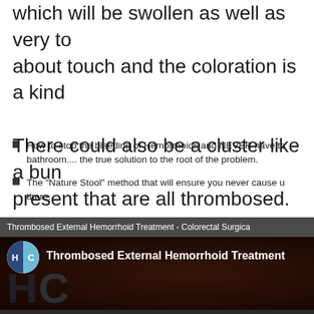which will be swollen as well as very tender about touch and the coloration is a kind of There could also be a cluster like a bunch present that are all thrombosed.
How to stop the bleeding of Hemorrhoids and NEVER have to bathroom.... the true solution to the root of the problem.
The "Nature Stool" method that will ensure you never cause u there.
[Figure (screenshot): Video thumbnail for 'Thrombosed External Hemorrhoid Treatment - Colorectal Surgical video' showing the HC logo (blue split circle with H and C letters) and video title text on a dark reddish-brown background.]